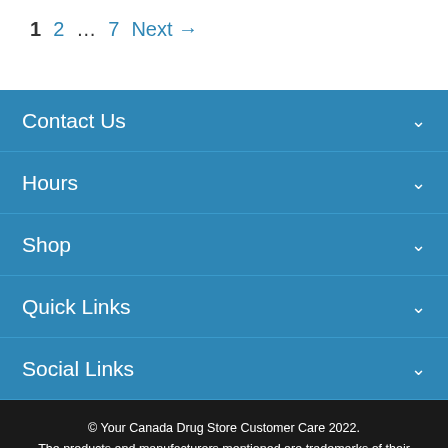1  2  …  7  Next →
Contact Us
Hours
Shop
Quick Links
Social Links
© Your Canada Drug Store Customer Care 2022. The products and manufacturers mentioned are trademarks of their respective owners and are not owned by or affiliated with ycdscc.com or any of its associated companies.